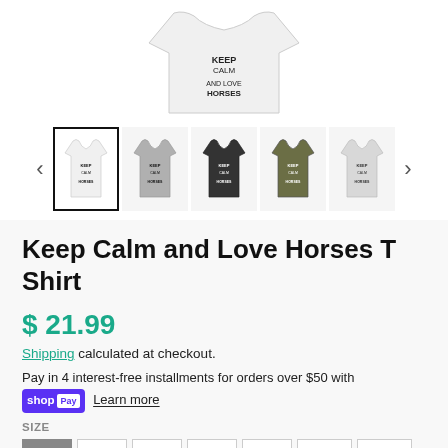[Figure (photo): Product images of Keep Calm and Love Horses T-Shirt in white, grey, dark, olive, and light grey colors shown as thumbnail strip with navigation arrows. First (white) thumbnail is selected with a black border.]
Keep Calm and Love Horses T Shirt
$ 21.99
Shipping calculated at checkout.
Pay in 4 interest-free installments for orders over $50 with shop Pay Learn more
SIZE
XS  S  M  L  XL  2XL  3XL
COLOR